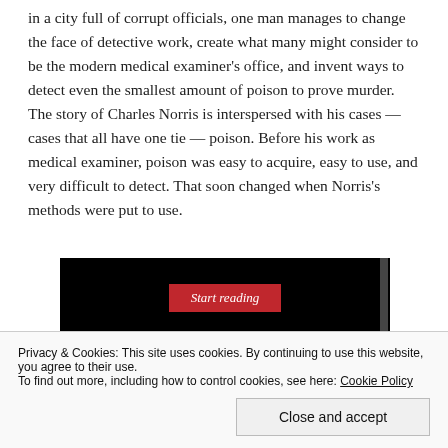in a city full of corrupt officials, one man manages to change the face of detective work, create what many might consider to be the modern medical examiner's office, and invent ways to detect even the smallest amount of poison to prove murder. The story of Charles Norris is interspersed with his cases — cases that all have one tie — poison. Before his work as medical examiner, poison was easy to acquire, easy to use, and very difficult to detect. That soon changed when Norris's methods were put to use.
[Figure (screenshot): Screenshot of a 'Start reading' button on a black background]
Privacy & Cookies: This site uses cookies. By continuing to use this website, you agree to their use.
To find out more, including how to control cookies, see here: Cookie Policy
Close and accept